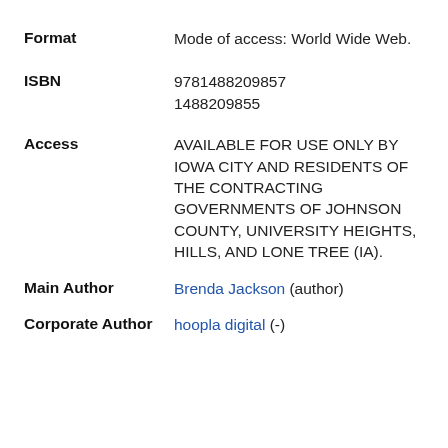| Field | Value |
| --- | --- |
| Format | Mode of access: World Wide Web. |
| ISBN | 9781488209857
1488209855 |
| Access | AVAILABLE FOR USE ONLY BY IOWA CITY AND RESIDENTS OF THE CONTRACTING GOVERNMENTS OF JOHNSON COUNTY, UNIVERSITY HEIGHTS, HILLS, AND LONE TREE (IA). |
| Main Author | Brenda Jackson (author) |
| Corporate Author | hoopla digital (-) |